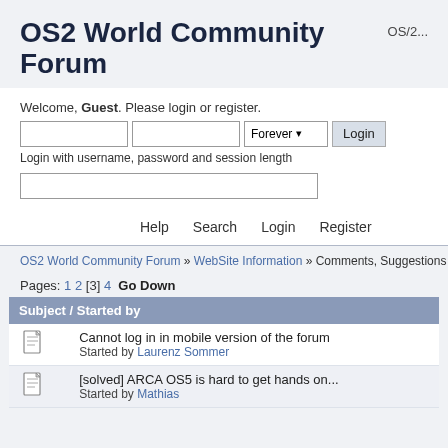OS2 World Community Forum
OS/2...
Welcome, Guest. Please login or register.
Login with username, password and session length
Help  Search  Login  Register
OS2 World Community Forum » WebSite Information » Comments, Suggestions & Ques...
Pages: 1 2 [3] 4  Go Down
| Subject / Started by |
| --- |
| Cannot log in in mobile version of the forum
Started by Laurenz Sommer |
| [solved] ARCA OS5 is hard to get hands on...
Started by Mathias |